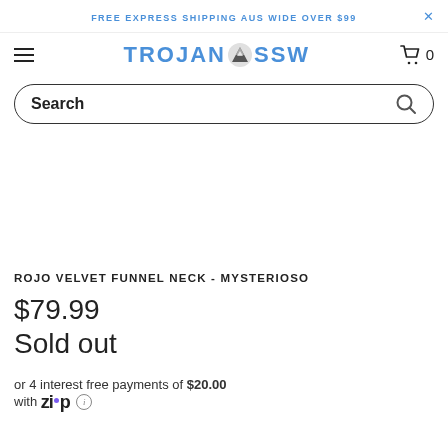FREE EXPRESS SHIPPING AUS WIDE OVER $99
[Figure (logo): TROJAN SSW logo with mountain icon in center, blue text]
Search
[Figure (photo): Product image area (blank/white)]
ROJO VELVET FUNNEL NECK - MYSTERIOSO
$79.99
Sold out
or 4 interest free payments of $20.00 with Zip (i)